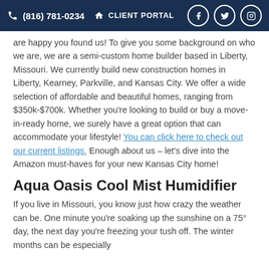(816) 781-0234  CLIENT PORTAL
are happy you found us! To give you some background on who we are, we are a semi-custom home builder based in Liberty, Missouri. We currently build new construction homes in Liberty, Kearney, Parkville, and Kansas City. We offer a wide selection of affordable and beautiful homes, ranging from $350k-$700k. Whether you're looking to build or buy a move-in-ready home, we surely have a great option that can accommodate your lifestyle! You can click here to check out our current listings. Enough about us – let's dive into the Amazon must-haves for your new Kansas City home!
Aqua Oasis Cool Mist Humidifier
If you live in Missouri, you know just how crazy the weather can be. One minute you're soaking up the sunshine on a 75° day, the next day you're freezing your tush off. The winter months can be especially